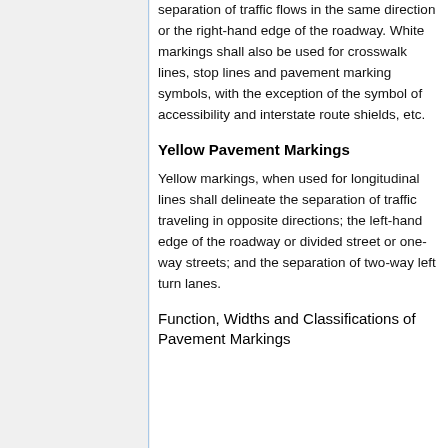separation of traffic flows in the same direction or the right-hand edge of the roadway. White markings shall also be used for crosswalk lines, stop lines and pavement marking symbols, with the exception of the symbol of accessibility and interstate route shields, etc.
Yellow Pavement Markings
Yellow markings, when used for longitudinal lines shall delineate the separation of traffic traveling in opposite directions; the left-hand edge of the roadway or divided street or one-way streets; and the separation of two-way left turn lanes.
Function, Widths and Classifications of Pavement Markings